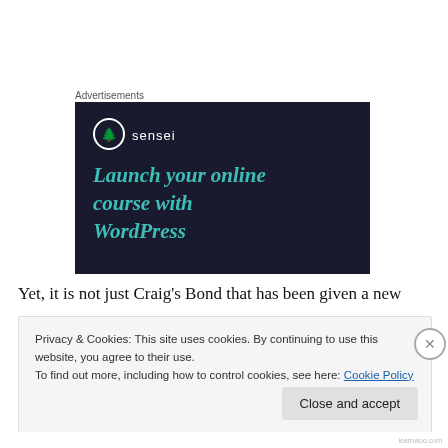Advertisements
[Figure (illustration): Sensei advertisement on dark navy background. Shows Sensei logo (circle with tree icon and 'sensei' text) and large teal italic text reading 'Launch your online course with WordPress']
Yet, it is not just Craig's Bond that has been given a new
Privacy & Cookies: This site uses cookies. By continuing to use this website, you agree to their use.
To find out more, including how to control cookies, see here: Cookie Policy
Close and accept